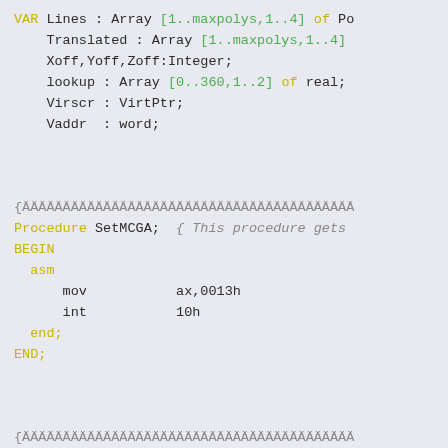VAR Lines : Array [1..maxpolys,1..4] of Po
    Translated : Array [1..maxpolys,1..4]
    Xoff,Yoff,Zoff:Integer;
    lookup : Array [0..360,1..2] of real;
    Virscr : VirtPtr;
    Vaddr  : word;
{ÄÄÄÄÄÄÄÄÄÄÄÄÄÄÄÄÄÄÄÄÄÄÄÄÄÄÄÄÄÄÄÄÄÄÄÄÄÄÄÄÄ
Procedure SetMCGA;  { This procedure gets
BEGIN
  asm
      mov           ax,0013h
      int           10h
  end;
END;
{ÄÄÄÄÄÄÄÄÄÄÄÄÄÄÄÄÄÄÄÄÄÄÄÄÄÄÄÄÄÄÄÄÄÄÄÄÄÄÄÄÄ